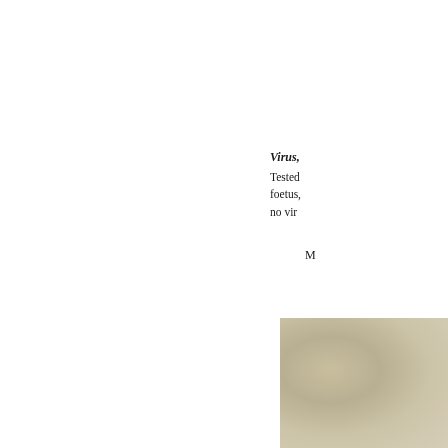Virus, Tested foetus, no vir M
[Figure (photo): Photograph showing a textured beige/cream surface, possibly biological tissue or material, visible in the lower right portion of the page.]